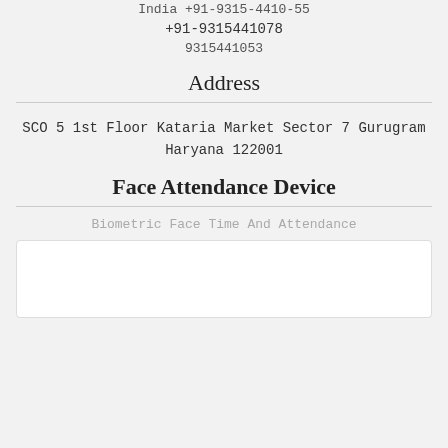India +91-9315-4410-55
+91-9315441078
9315441053
Address
SCO 5 1st Floor Kataria Market Sector 7 Gurugram Haryana 122001
Face Attendance Device
Biometric Face Time And Attendance
[Figure (other): White rectangular box, likely an image placeholder for a face attendance device product photo]